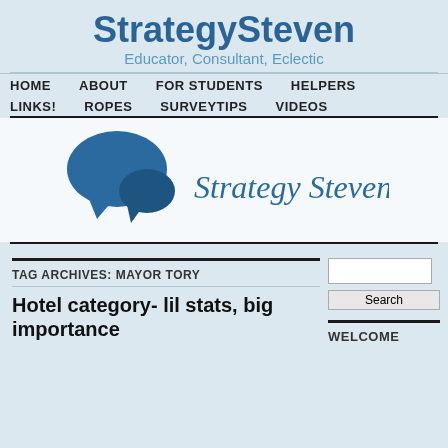StrategySteven
Educator, Consultant, Eclectic
HOME   ABOUT   FOR STUDENTS   HELPERS   LINKS!   ROPES   SURVEYTIPS   VIDEOS
[Figure (logo): StrategySteven logo: two blue speech bubble icons on the left and 'Strategy Steven' in blue handwritten script on the right, on a light blue/white background]
TAG ARCHIVES: MAYOR TORY
Hotel category- lil stats, big importance
Search
WELCOME